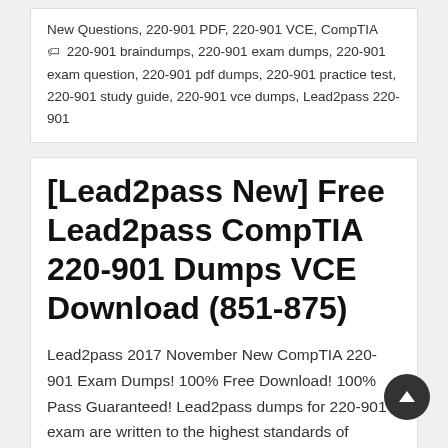New Questions, 220-901 PDF, 220-901 VCE, CompTIA
🏷 220-901 braindumps, 220-901 exam dumps, 220-901 exam question, 220-901 pdf dumps, 220-901 practice test, 220-901 study guide, 220-901 vce dumps, Lead2pass 220-901
[Lead2pass New] Free Lead2pass CompTIA 220-901 Dumps VCE Download (851-875)
Lead2pass 2017 November New CompTIA 220-901 Exam Dumps! 100% Free Download! 100% Pass Guaranteed! Lead2pass dumps for 220-901 exam are written to the highest standards of